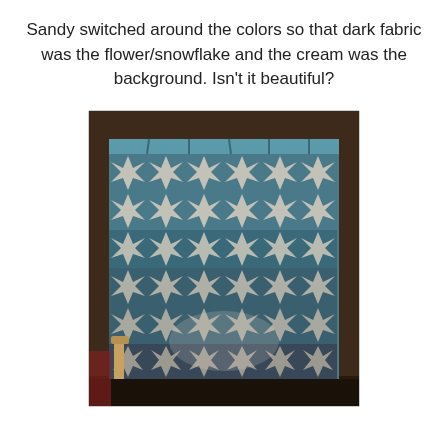Sandy switched around the colors so that dark fabric was the flower/snowflake and the cream was the background. Isn't it beautiful?
[Figure (photo): A photo of a large quilt hanging or draped, featuring a flower/snowflake pattern. The quilt has a teal/blue-grey background (dark fabric) with cream/white pattern pieces forming the flower and snowflake shapes. The quilt is displayed indoors with a chair and shelving visible in the background.]